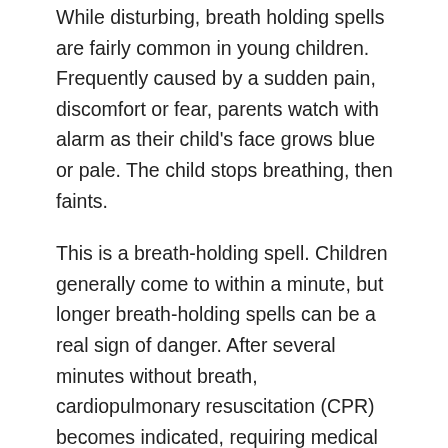While disturbing, breath holding spells are fairly common in young children. Frequently caused by a sudden pain, discomfort or fear, parents watch with alarm as their child's face grows blue or pale. The child stops breathing, then faints.
This is a breath-holding spell. Children generally come to within a minute, but longer breath-holding spells can be a real sign of danger. After several minutes without breath, cardiopulmonary resuscitation (CPR) becomes indicated, requiring medical personnel and parents to act quickly.
Family Alleges Negligence In Medical Care
In their lawsuit, the boy's parents contend that the medical technicians made a mistake in treating their son.